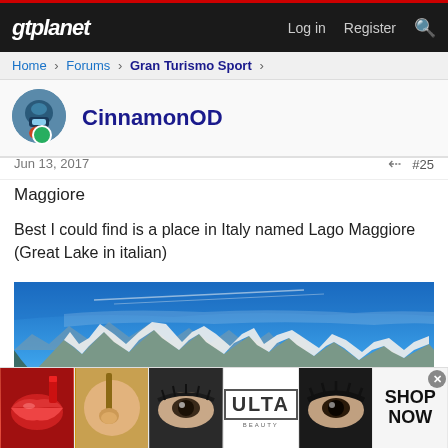gtplanet | Log in | Register
Home > Forums > Gran Turismo Sport >
CinnamonOD
Jun 13, 2017  #25
Maggiore
Best I could find is a place in Italy named Lago Maggiore (Great Lake in italian)
[Figure (photo): Panoramic photo of Lago Maggiore, Italy, showing snow-capped mountains against a blue sky with a lake in the foreground]
[Figure (photo): ULTA Beauty advertisement banner with close-up images of lips, makeup brush, eyes, ULTA logo, and SHOP NOW text]